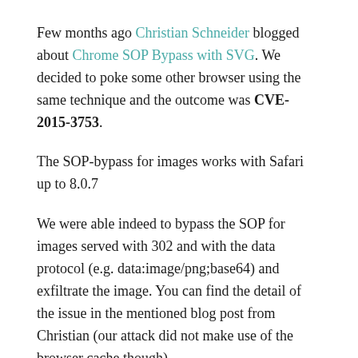Few months ago Christian Schneider blogged about Chrome SOP Bypass with SVG. We decided to poke some other browser using the same technique and the outcome was CVE-2015-3753.
The SOP-bypass for images works with Safari up to 8.0.7
We were able indeed to bypass the SOP for images served with 302 and with the data protocol (e.g. data:image/png;base64) and exfiltrate the image. You can find the detail of the issue in the mentioned blog post from Christian (our attack did not make use of the browser cache though)
Step to reproduce with Safari 8.0.7 :